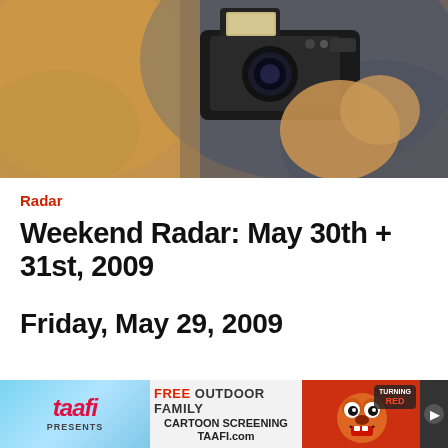[Figure (photo): Person holding a camera, photographing; warm blurred background with hand and camera in focus]
Radar
Weekend Radar: May 30th + 31st, 2009
Friday, May 29, 2009
[Figure (photo): Advertisement banner: taafi presents FREE OUTDOOR FAMILY CARTOON SCREENING TAAFI.com, with cartoon character image on right]